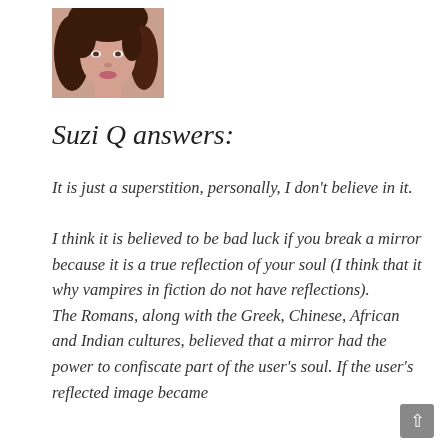[Figure (photo): Small profile photo of a woman with curly dark red/brown hair, partial face visible]
Suzi Q answers:
It is just a superstition, personally, I don't believe in it.
I think it is believed to be bad luck if you break a mirror because it is a true reflection of your soul (I think that it why vampires in fiction do not have reflections).
The Romans, along with the Greek, Chinese, African and Indian cultures, believed that a mirror had the power to confiscate part of the user's soul. If the user's reflected image became